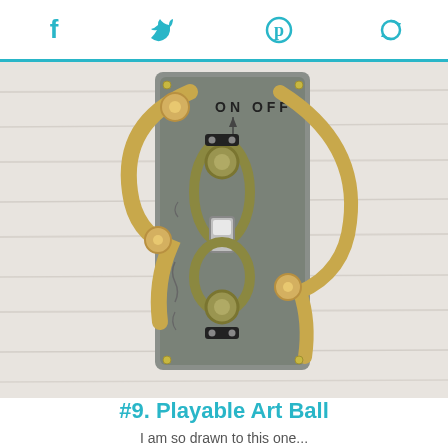f  [twitter]  p  [share icon]
[Figure (photo): A decorative wooden and metal wall-mounted light switch plate cover shaped like an abstract pinball machine or art piece. It features a gray metal rectangular panel with 'ON OFF' text at the top, a toggle switch in the middle, gold/brass colored oval-shaped decorative elements, and curved wooden arms extending outward. The piece is mounted on a white wood-grain wall.]
#9. Playable Art Ball
I am so drawn to this one...